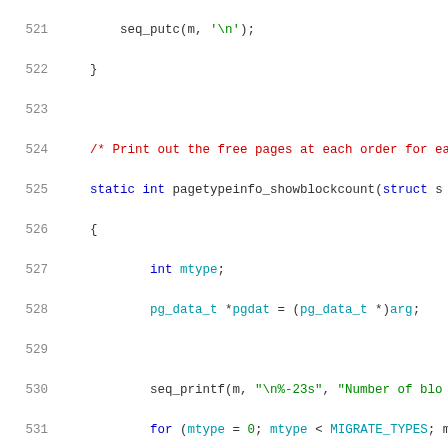Source code listing, lines 521-541, C kernel code for pagetypeinfo functions